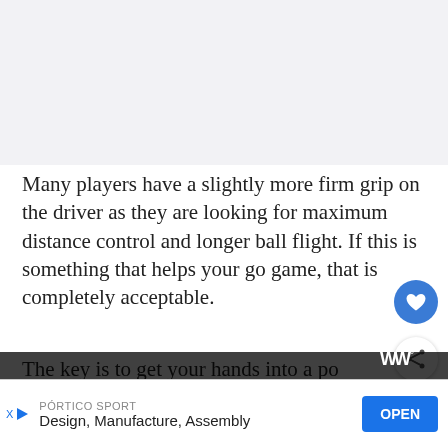[Figure (photo): Light gray placeholder image area at top of page]
Many players have a slightly more firm grip on the driver as they are looking for maximum distance control and longer ball flight. If this is something that helps your golf game, that is completely acceptable.
The key is to get your hands into a position where you can still get the proper swing arc and...start of
[Figure (infographic): WHAT'S NEXT arrow label with 'Golf club grips' text and EC logo icon]
[Figure (infographic): Advertisement banner: PORTICO SPORT - Design, Manufacture, Assembly with OPEN button]